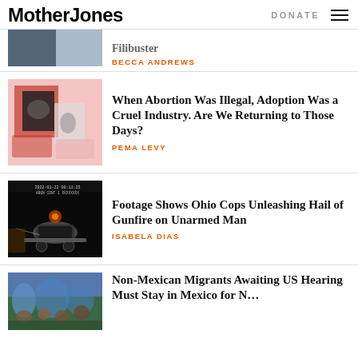Mother Jones | DONATE
[Figure (photo): Partial article image at top (cropped)]
Filibuster
BECCA ANDREWS
[Figure (photo): Collage of ultrasound and baby foot images on pink background]
When Abortion Was Illegal, Adoption Was a Cruel Industry. Are We Returning to Those Days?
PEMA LEVY
[Figure (photo): Dashboard camera footage of car at night, Ohio police shooting scene]
Footage Shows Ohio Cops Unleashing Hail of Gunfire on Unarmed Man
ISABELA DIAS
[Figure (photo): Non-Mexican migrants at US border, people in tents]
Non-Mexican Migrants Awaiting US Hearing Must Stay in Mexico for N…